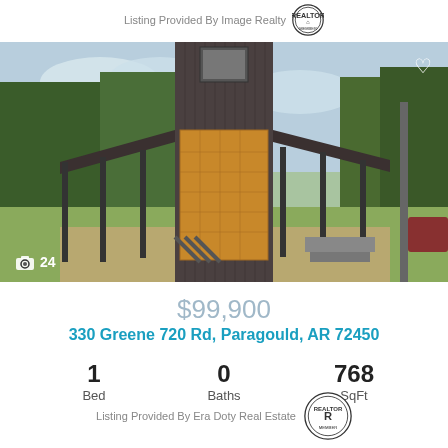Listing Provided By Image Realty
[Figure (photo): Exterior photo of a rustic barn-style house under construction with plywood siding, covered porches on both sides, surrounded by trees. Camera icon with '24' photo count overlay. Heart icon in top right.]
$99,900
330 Greene 720 Rd, Paragould, AR 72450
| Bed | Baths | SqFt |
| --- | --- | --- |
| 1 | 0 | 768 |
Listing Provided By Era Doty Real Estate